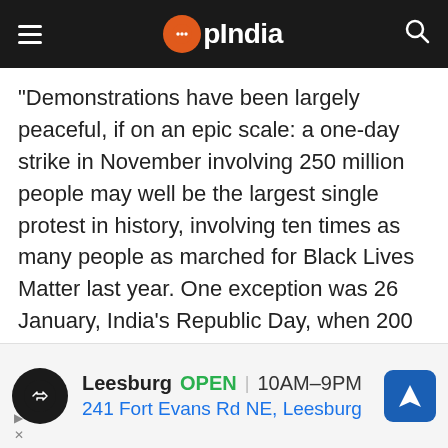OpIndia
“Demonstrations have been largely peaceful, if on an epic scale: a one-day strike in November involving 250 million people may well be the largest single protest in history, involving ten times as many people as marched for Black Lives Matter last year. One exception was 26 January, India’s Republic Day, when 200 farmers were “detained” by Delhi’s notoriously violent police after diverting a march to the Red Fort,” he alleged.
ever, it was on the occasion of Republic Day when
[Figure (other): Advertisement banner: black circle logo with arrows, text showing Leesburg OPEN 10AM-9PM, 241 Fort Evans Rd NE, Leesburg, and a blue diamond direction arrow icon]